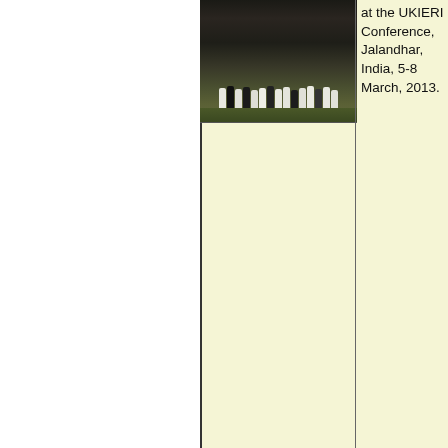[Figure (photo): Group photo of people standing/sitting outdoors on grass at the UKIERI Conference]
at the UKIERI Conference, Jalandhar, India, 5-8 March, 2013.